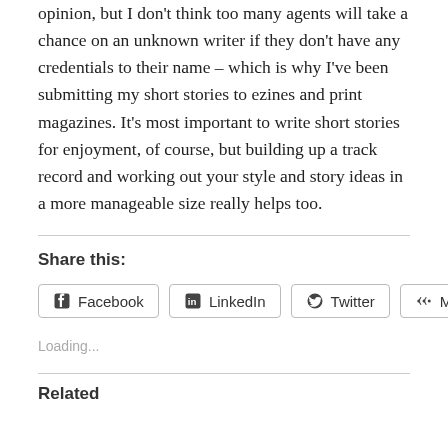opinion, but I don't think too many agents will take a chance on an unknown writer if they don't have any credentials to their name – which is why I've been submitting my short stories to ezines and print magazines. It's most important to write short stories for enjoyment, of course, but building up a track record and working out your style and story ideas in a more manageable size really helps too.
Share this:
Facebook  LinkedIn  Twitter  More
Loading...
Related